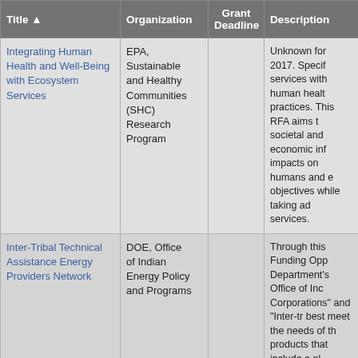| Title ▲ | Organization | Grant Deadline | Description |
| --- | --- | --- | --- |
| Integrating Human Health and Well-Being with Ecosystem Services | EPA, Sustainable and Healthy Communities (SHC) Research Program |  | Unknown for 2017. Specif services with human health practices. This RFA aims t societal and economic info impacts on humans and e objectives while taking ad services. |
| Inter-Tribal Technical Assistance Energy Providers Network | DOE, Office of Indian Energy Policy and Programs |  | Through this Funding Opp Department's Office of Inc Corporations" and "Inter-tr best meet the needs of th products that include a pl funding and a methodolog Native villages. |
| Intermediary Relending Program | USDA |  | Applications accepted y intermediaries that re-len communities. |